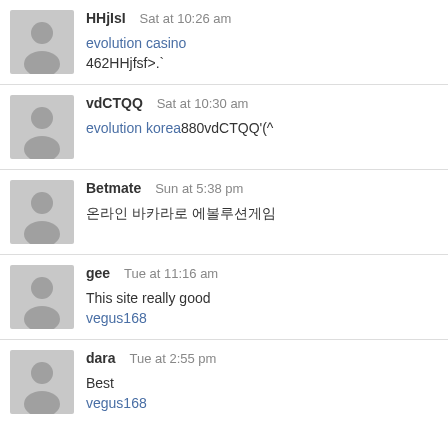HHjIsI  Sat at 10:26 am
evolution casino
462HHjfsf>.`
vdCTQQ  Sat at 10:30 am
evolution korea880vdCTQQ'(^
Betmate  Sun at 5:38 pm
온라인 바카라로 에볼루션게임
gee  Tue at 11:16 am
This site really good
vegus168
dara  Tue at 2:55 pm
Best
vegus168